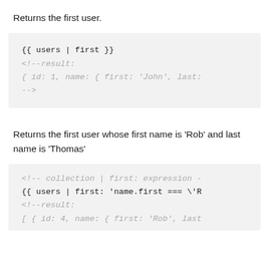Returns the first user.
{{ users | first }}
<!--result:
{ id: 1, name: { first: 'John', last:
-->
Returns the first user whose first name is 'Rob' and last name is 'Thomas'
<!-- collection | first: expression -
{{ users | first: 'name.first === \'R
<!--result:
[ { id: 4, name: { first: 'Rob', last